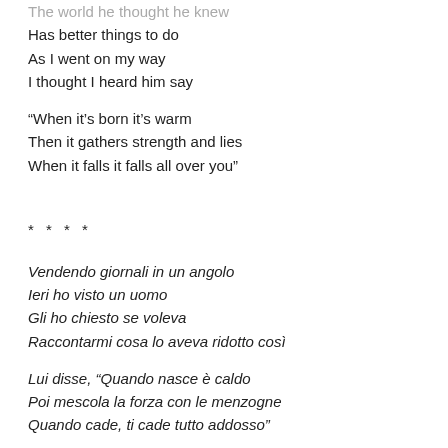The world he thought he knew
Has better things to do
As I went on my way
I thought I heard him say
“When it’s born it’s warm
Then it gathers strength and lies
When it falls it falls all over you”
* * * *
Vendendo giornali in un angolo
Ieri ho visto un uomo
Gli ho chiesto se voleva
Raccontarmi cosa lo aveva ridotto così
Lui disse, “Quando nasce è caldo
Poi mescola la forza con le menzogne
Quando cade, ti cade tutto addosso”
Si sceglieva gli amici